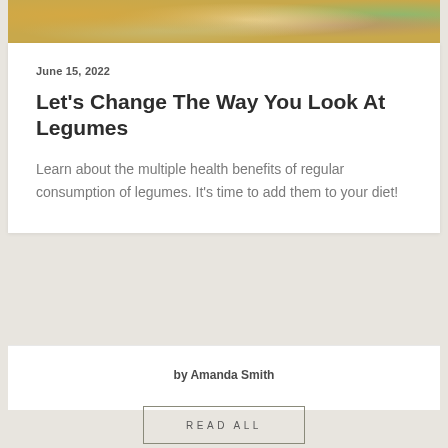[Figure (photo): Close-up photo of colorful dried pasta/legumes in yellow, gold, and green tones]
June 15, 2022
Let’s Change The Way You Look At Legumes
Learn about the multiple health benefits of regular consumption of legumes. It’s time to add them to your diet!
by Amanda Smith
READ ALL